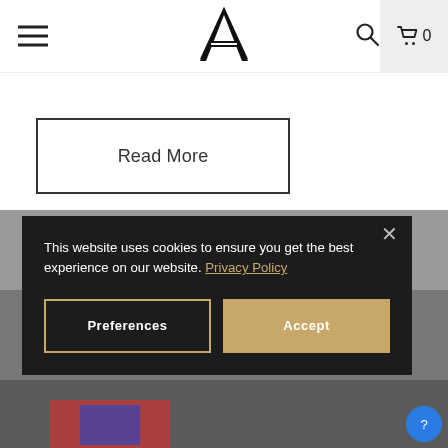Navigation bar with hamburger menu, logo (stylized A), search icon, and cart with 0 items
Read More
[Figure (photo): Background photo of a recording studio or workspace with equipment visible; partially obscured by cookie consent overlay]
This website uses cookies to ensure you get the best experience on our website. Privacy Policy
Preferences
Accept